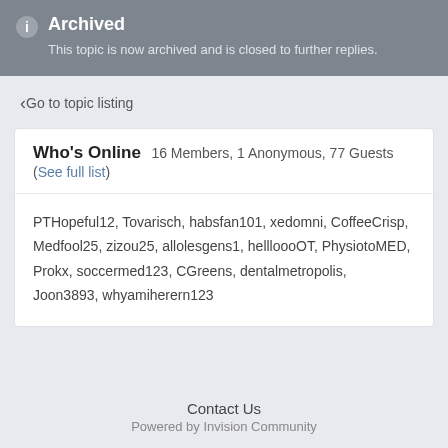Archived
This topic is now archived and is closed to further replies.
Go to topic listing
Who's Online  16 Members, 1 Anonymous, 77 Guests (See full list)
PTHopeful12, Tovarisch, habsfan101, xedomni, CoffeeCrisp, Medfool25, zizou25, allolesgens1, hellloooOT, PhysiotoMED, Prokx, soccermed123, CGreens, dentalmetropolis, Joon3893, whyamiherern123
Contact Us
Powered by Invision Community